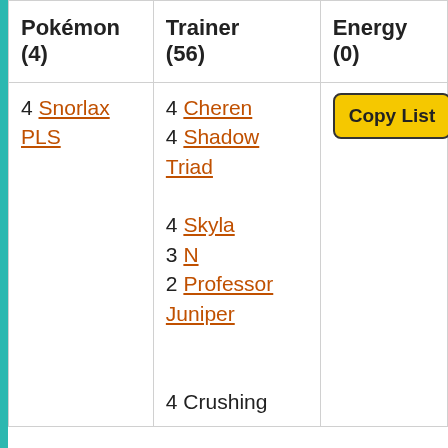| Pokémon (4) | Trainer (56) | Energy (0) |
| --- | --- | --- |
| 4 Snorlax PLS | 4 Cheren
4 Shadow Triad
4 Skyla
3 N
2 Professor Juniper

4 Crushing | Copy List
 |